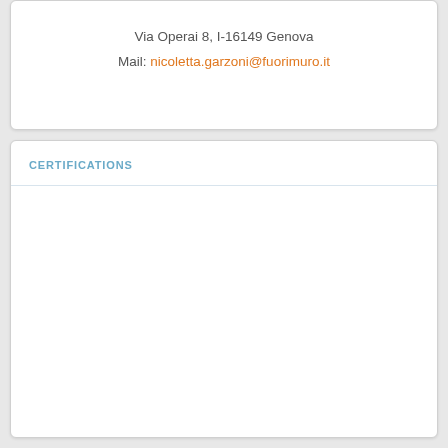Via Operai 8, I-16149 Genova
Mail: nicoletta.garzoni@fuorimuro.it
CERTIFICATIONS